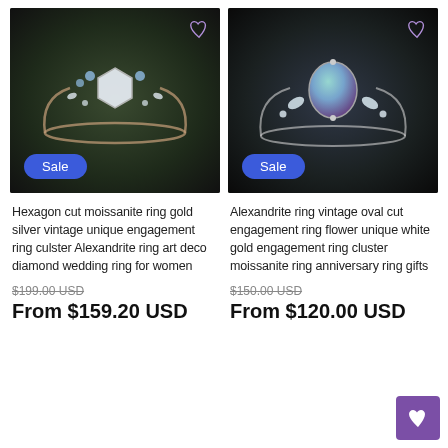[Figure (photo): Hexagon cut moissanite ring with gold band and small accent stones, resting on dark wood surface. Sale badge visible.]
[Figure (photo): Alexandrite ring with vintage oval cut stone and marquise accent diamonds on silver band, resting on dark wood surface. Sale badge visible.]
Hexagon cut moissanite ring gold silver vintage unique engagement ring culster Alexandrite ring art deco diamond wedding ring for women
$199.00 USD
From $159.20 USD
Alexandrite ring vintage oval cut engagement ring flower unique white gold engagement ring cluster moissanite ring anniversary ring gifts
$150.00 USD
From $120.00 USD